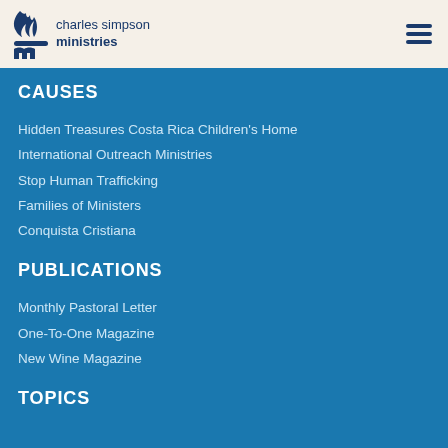[Figure (logo): Charles Simpson Ministries logo with flame/letter C icon and CSM letter mark, dark navy blue on cream background]
CAUSES
Hidden Treasures Costa Rica Children's Home
International Outreach Ministries
Stop Human Trafficking
Families of Ministers
Conquista Cristiana
PUBLICATIONS
Monthly Pastoral Letter
One-To-One Magazine
New Wine Magazine
TOPICS